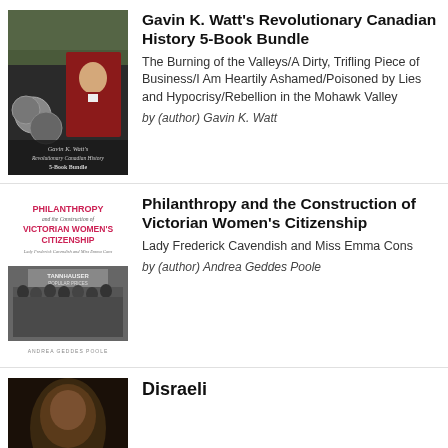[Figure (illustration): Book cover for Gavin K. Watt's Revolutionary Canadian History 5-Book Bundle, showing a colonial officer portrait and decorative coins/medallions on a dark background]
Gavin K. Watt's Revolutionary Canadian History 5-Book Bundle
The Burning of the Valleys/A Dirty, Trifling Piece of Business/I Am Heartily Ashamed/Poisoned by Lies and Hypocrisy/Rebellion in the Mohawk Valley
by (author) Gavin K. Watt
[Figure (illustration): Book cover for Philanthropy and the Construction of Victorian Women's Citizenship, showing a pink and white title design on top and a black-and-white photo of women queuing outside a theatre below, with author name Andrea Geddes Poole at bottom]
Philanthropy and the Construction of Victorian Women's Citizenship
Lady Frederick Cavendish and Miss Emma Cons
by (author) Andrea Geddes Poole
[Figure (photo): Dark portrait photo, partial book cover for Disraeli]
Disraeli